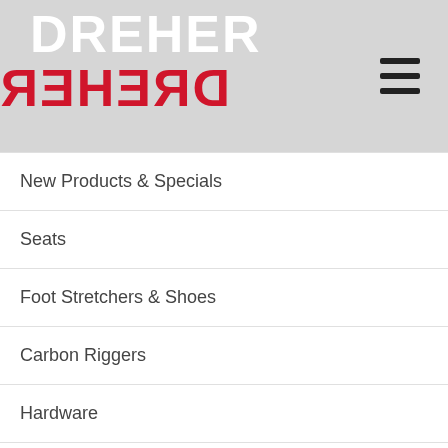[Figure (logo): Dreher brand logo with white text on top and red mirrored text below, on a grey background, with a hamburger menu icon on the right]
New Products & Specials
Seats
Foot Stretchers & Shoes
Carbon Riggers
Hardware
Accessories & Merchandise
Safety Accessories
Performance Electronics
Team Store